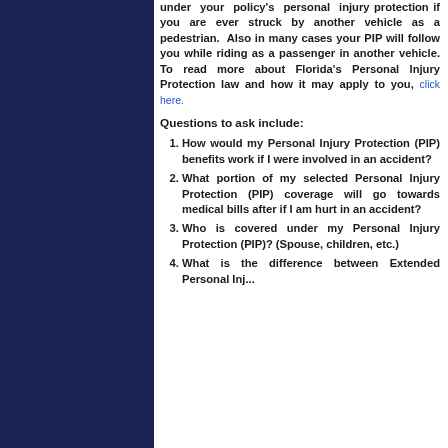under your policy's personal injury protection if you are ever struck by another vehicle as a pedestrian. Also in many cases your PIP will follow you while riding as a passenger in another vehicle. To read more about Florida's Personal Injury Protection law and how it may apply to you, click here.
Questions to ask include:
How would my Personal Injury Protection (PIP) benefits work if I were involved in an accident?
What portion of my selected Personal Injury Protection (PIP) coverage will go towards medical bills after if I am hurt in an accident?
Who is covered under my Personal Injury Protection (PIP)? (Spouse, children, etc.)
What is the difference between Extended Personal Injury...